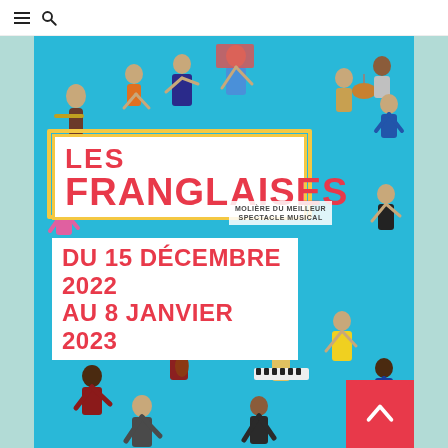≡ 🔍
[Figure (illustration): Promotional poster for 'Les Franglaises' musical show. Bright blue background with multiple performers jumping, dancing, and playing instruments. A marquee sign reads 'LES FRANGLAISES' in red on white. A badge reads 'MOLIÈRE DU MEILLEUR SPECTACLE MUSICAL'. Dates shown: DU 15 DÉCEMBRE 2022 AU 8 JANVIER 2023 in red on white.]